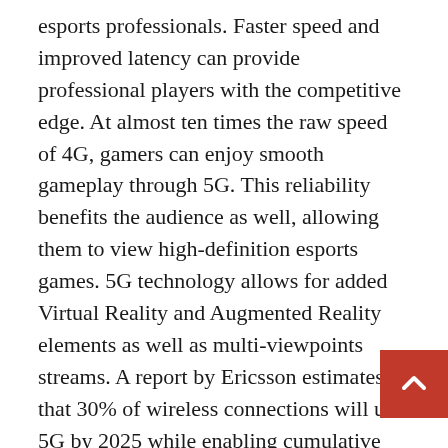esports professionals. Faster speed and improved latency can provide professional players with the competitive edge. At almost ten times the raw speed of 4G, gamers can enjoy smooth gameplay through 5G. This reliability benefits the audience as well, allowing them to view high-definition esports games. 5G technology allows for added Virtual Reality and Augmented Reality elements as well as multi-viewpoints streams. A report by Ericsson estimates that 30% of wireless connections will use 5G by 2025 while enabling cumulative consumer revenues of almost $31 trillion by 2030.
Esports have come a long way since the 1972 Space Invaders Championship. Prize pools for the 2019 Fornite World Cup and Dota 2 International surpassing $30 million and the esports industry is